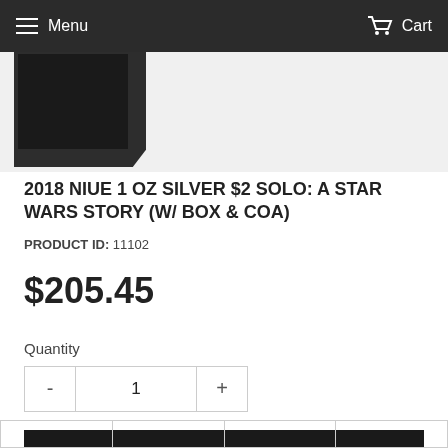Menu   Cart
[Figure (photo): Partial view of product box/packaging in dark color, cropped at top]
2018 NIUE 1 OZ SILVER $2 SOLO: A STAR WARS STORY (W/ BOX & COA)
PRODUCT ID: 11102
$205.45
Quantity
- 1 +
ADD TO CART
|  |  |  |  |